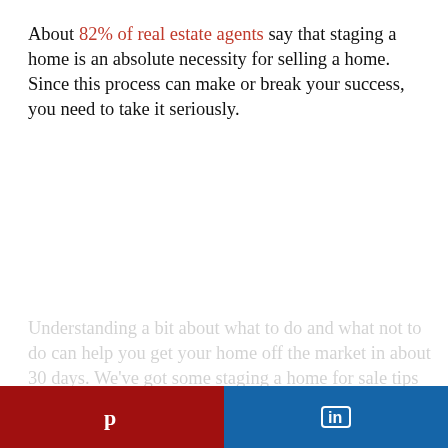About 82% of real estate agents say that staging a home is an absolute necessity for selling a home. Since this process can make or break your success, you need to take it seriously.
Understanding a bit about what to do and what not to do can help you get your home off the market in about 30 days. We've got some staging a home for sale tips that will help you get results. Read on so
[Figure (other): Show Full Article button - black rectangle with white bold text]
[Figure (other): Social sharing icons row: Facebook (blue), Twitter (light blue), Email (dark gray), Pinterest (red), Plus/More (orange-red). Gray circular scroll-to-top button on the right.]
[Figure (other): Bottom bar split in two: left half dark red with Pinterest icon, right half blue with LinkedIn icon]